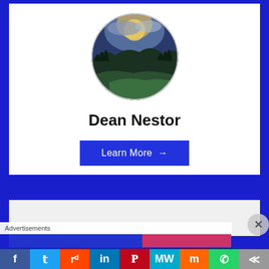[Figure (photo): Circular profile photo of a landscape: mountains or hills with green grass, trees, and a dramatic sky with sunlight breaking through clouds. Used as avatar for Dean Nestor.]
Dean Nestor
Learn More →
Advertisements
[Figure (screenshot): Social media sharing bar at the bottom with icons for Facebook, Twitter, Reddit, LinkedIn, Pinterest, MeWe, Mix, WhatsApp, and a share icon.]